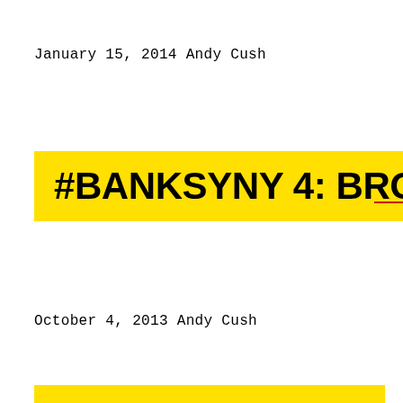January 15, 2014  Andy Cush
#BANKSYNY 4: BROOKLYN, LES
October 4, 2013  Andy Cush